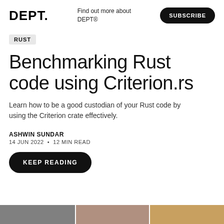DEPT.
Find out more about DEPT®
SUBSCRIBE
RUST
Benchmarking Rust code using Criterion.rs
Learn how to be a good custodian of your Rust code by using the Criterion crate effectively.
ASHWIN SUNDAR
14 JUN 2022 •  12 MIN READ
KEEP READING
[Figure (photo): A strip of images at the bottom of the page showing partial thumbnails of photographs]